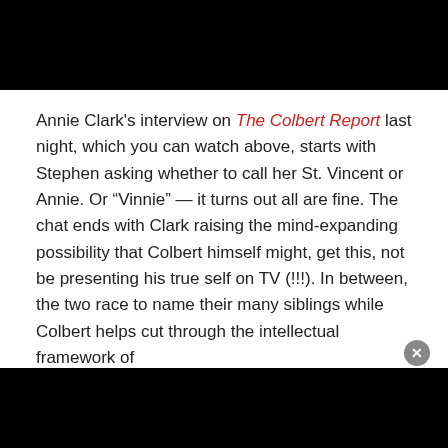Annie Clark's interview on The Colbert Report last night, which you can watch above, starts with Stephen asking whether to call her St. Vincent or Annie. Or “Vinnie” — it turns out all are fine. The chat ends with Clark raising the mind-expanding possibility that Colbert himself might, get this, not be presenting his true self on TV (!!!). In between, the two race to name their many siblings while Colbert helps cut through the intellectual framework of